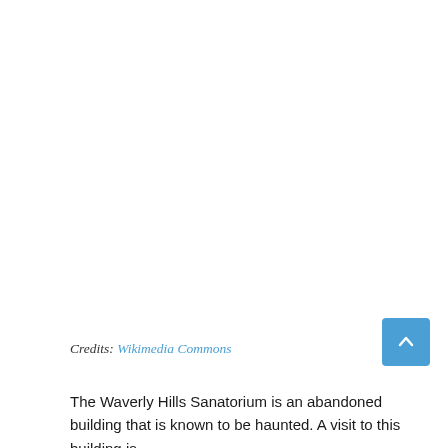[Figure (photo): Large image area at top of page, appears blank/white in this crop — photo of Waverly Hills Sanatorium from Wikimedia Commons]
Credits: Wikimedia Commons
The Waverly Hills Sanatorium is an abandoned building that is known to be haunted. A visit to this building is